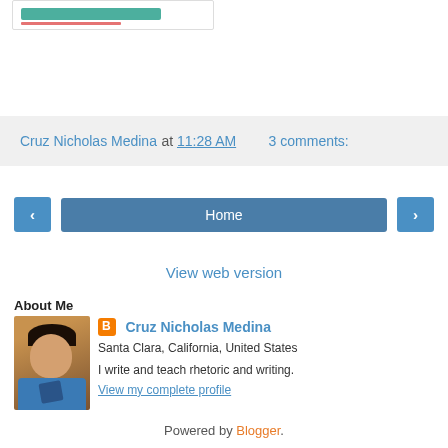[Figure (screenshot): Partial screenshot of a blog widget or image at the top of the page]
Cruz Nicholas Medina at 11:28 AM    3 comments:
‹   Home   ›
View web version
About Me
[Figure (photo): Profile photo of Cruz Nicholas Medina, a man in a blue shirt and tie]
Cruz Nicholas Medina
Santa Clara, California, United States
I write and teach rhetoric and writing.
View my complete profile
Powered by Blogger.